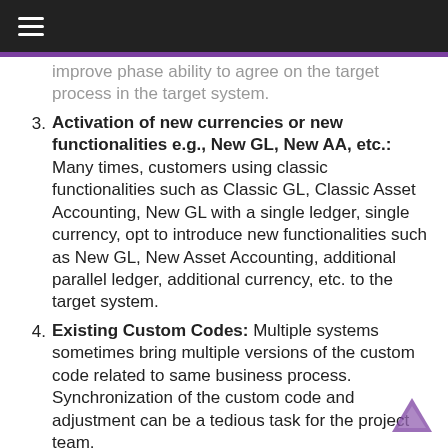≡
...improve phase ability to agree on the target process in the target system.
3. Activation of new currencies or new functionalities e.g., New GL, New AA, etc.: Many times, customers using classic functionalities such as Classic GL, Classic Asset Accounting, New GL with a single ledger, single currency, opt to introduce new functionalities such as New GL, New Asset Accounting, additional parallel ledger, additional currency, etc. to the target system.
4. Existing Custom Codes: Multiple systems sometimes bring multiple versions of the custom code related to same business process. Synchronization of the custom code and adjustment can be a tedious task for the project team.
5. System integrations and interfaces: Third party interfaces connected to multiple systems which would need to be revisited and